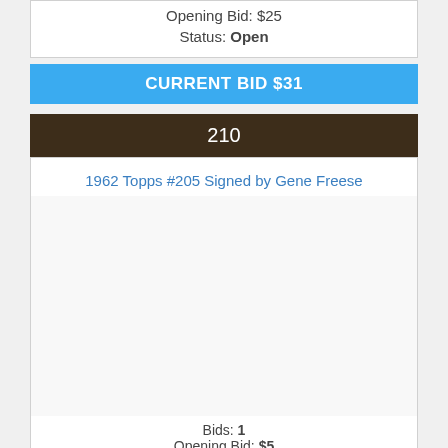Opening Bid: $25
Status: Open
CURRENT BID $31
210
1962 Topps #205 Signed by Gene Freese
[Figure (photo): Empty white image area for lot photo]
Bids: 1
Opening Bid: $5